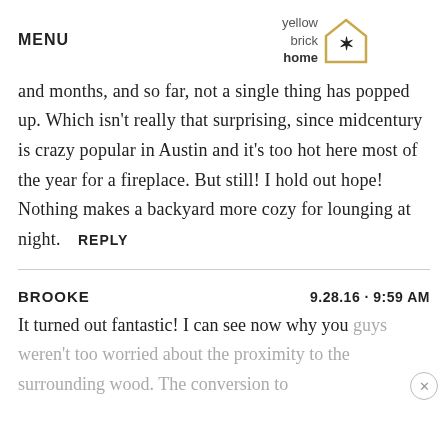MENU | yellow brick home logo
and months, and so far, not a single thing has popped up. Which isn't really that surprising, since midcentury is crazy popular in Austin and it's too hot here most of the year for a fireplace. But still! I hold out hope! Nothing makes a backyard more cozy for lounging at night. REPLY
BROOKE  9.28.16 · 9:59 AM
It turned out fantastic! I can see now why you guys weren't too worried about the proximity to the surrounding wood. The conversion to